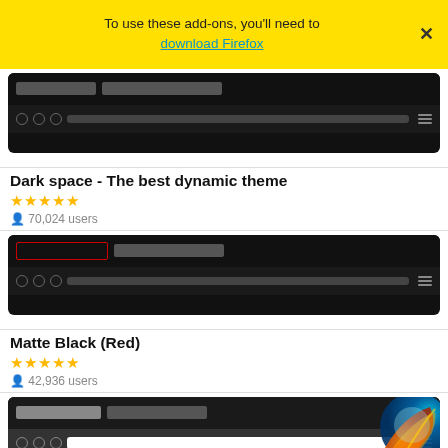To use these add-ons, you'll need to download Firefox
[Figure (screenshot): Dark space theme browser thumbnail - dark browser chrome]
Dark space - The best dynamic theme
★★★★★ 70,024 users
[Figure (screenshot): Matte Black (Red) theme browser thumbnail - dark with red outlined tab]
Matte Black (Red)
★★★★★ 42,936 users
[Figure (screenshot): Dark Fox theme browser thumbnail - dark with Firefox logo on right side]
Dark Fox
★★★★½ 39,509 users